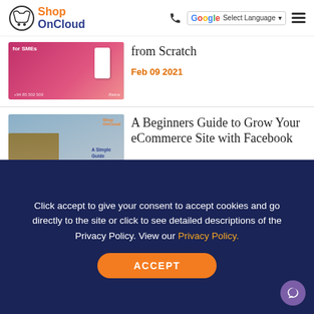[Figure (logo): ShopOnCloud logo with shopping cart icon, orange 'Shop' and blue 'OnCloud' text]
from Scratch
Feb 09 2021
[Figure (photo): Book cover: A Simple Guide to Facebook for Online]
A Beginners Guide to Grow Your eCommerce Site with Facebook
Click accept to give your consent to accept cookies and go directly to the site or click to see detailed descriptions of the Privacy Policy. View our Privacy Policy.